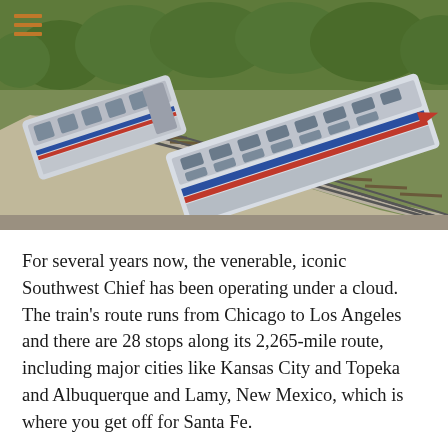[Figure (photo): Aerial/overhead view of an Amtrak Southwest Chief passenger train rounding a curve on tracks through a dry, brushy landscape with green trees in the background. The silver train cars have distinctive blue and red stripes. A hamburger menu icon in orange is visible in the top-left corner.]
For several years now, the venerable, iconic Southwest Chief has been operating under a cloud. The train's route runs from Chicago to Los Angeles and there are 28 stops along its 2,265-mile route, including major cities like Kansas City and Topeka and Albuquerque and Lamy, New Mexico, which is where you get off for Santa Fe.